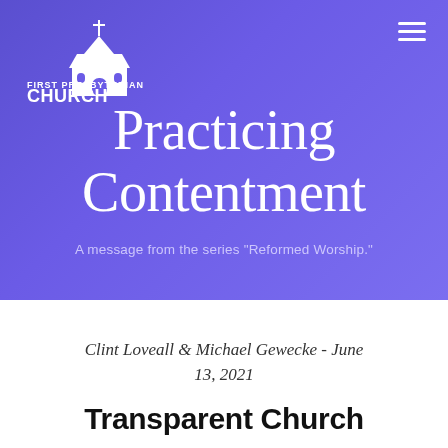[Figure (logo): First Presbyterian Church logo — white church building illustration with cross, text 'FIRST PRESBYTERIAN' above and 'CHURCH' below in bold white letters]
Practicing Contentment
A message from the series "Reformed Worship."
Clint Loveall & Michael Gewecke - June 13, 2021
Transparent Church